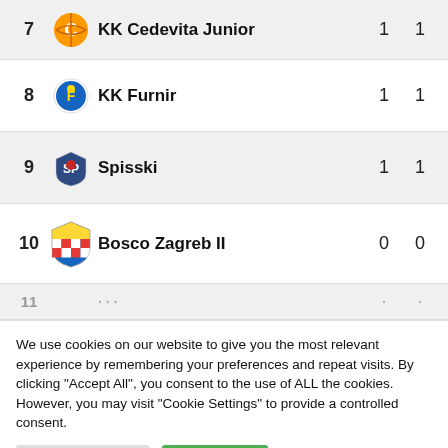| # | Logo | Team | Col1 | Col2 |
| --- | --- | --- | --- | --- |
| 7 |  | KK Cedevita Junior | 1 | 1 |
| 8 |  | KK Furnir | 1 | 1 |
| 9 |  | Spisski | 1 | 1 |
| 10 |  | Bosco Zagreb II | 0 | 0 |
| 11 |  | ... | ... | ... |
We use cookies on our website to give you the most relevant experience by remembering your preferences and repeat visits. By clicking "Accept All", you consent to the use of ALL the cookies. However, you may visit "Cookie Settings" to provide a controlled consent.